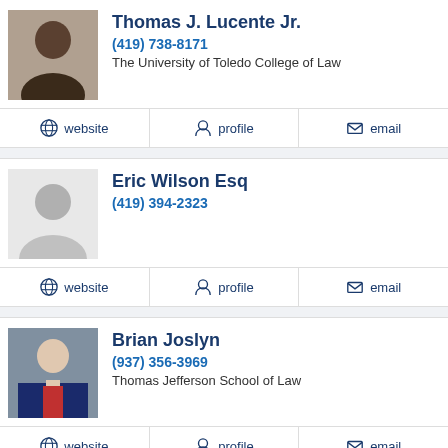Thomas J. Lucente Jr.
(419) 738-8171
The University of Toledo College of Law
website  profile  email
Eric Wilson Esq
(419) 394-2323
website  profile  email
Brian Joslyn
(937) 356-3969
Thomas Jefferson School of Law
website  profile  email